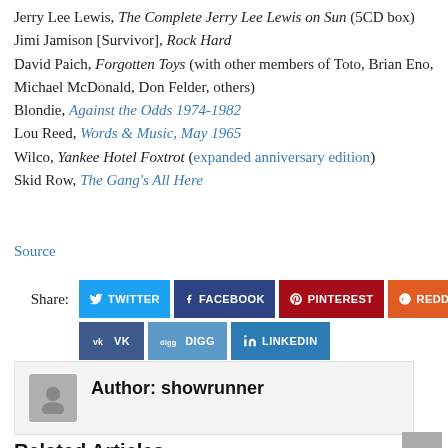Jerry Lee Lewis, The Complete Jerry Lee Lewis on Sun (5CD box)
Jimi Jamison [Survivor], Rock Hard
David Paich, Forgotten Toys (with other members of Toto, Brian Eno, Michael McDonald, Don Felder, others)
Blondie, Against the Odds 1974-1982
Lou Reed, Words & Music, May 1965
Wilco, Yankee Hotel Foxtrot (expanded anniversary edition)
Skid Row, The Gang's All Here
Source
Share: TWITTER FACEBOOK PINTEREST REDDIT VK DIGG LINKEDIN
Author: showrunner
Related Articles